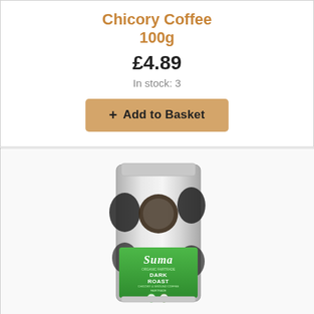Chicory Coffee
100g
£4.89
In stock: 3
[Figure (photo): A silver foil bag of Suma Organic Dark Roast Chicory Coffee 100g, with a green label showing the Suma brand, 'ORGANIC FAIRTRADE DARK ROAST' text and certification logos.]